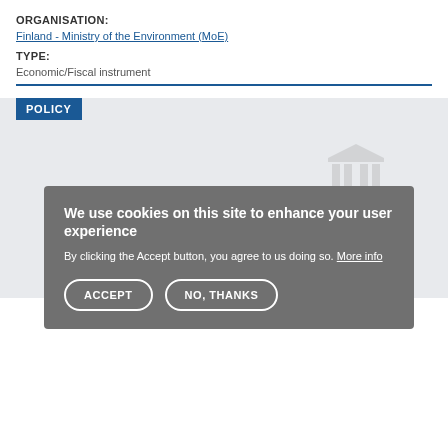ORGANISATION:
Finland - Ministry of the Environment (MoE)
TYPE:
Economic/Fiscal instrument
POLICY
We use cookies on this site to enhance your user experience
By clicking the Accept button, you agree to us doing so. More info
ACCEPT  NO, THANKS